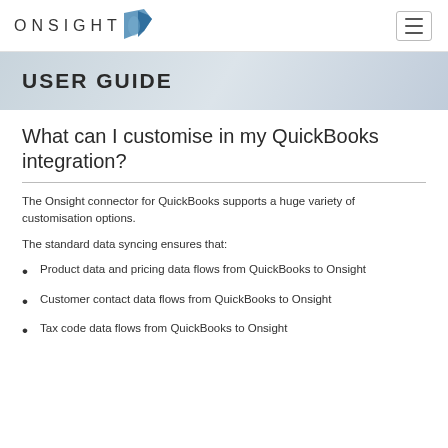ONSIGHT [logo] | hamburger menu
USER GUIDE
What can I customise in my QuickBooks integration?
The Onsight connector for QuickBooks supports a huge variety of customisation options.
The standard data syncing ensures that:
Product data and pricing data flows from QuickBooks to Onsight
Customer contact data flows from QuickBooks to Onsight
Tax code data flows from QuickBooks to Onsight